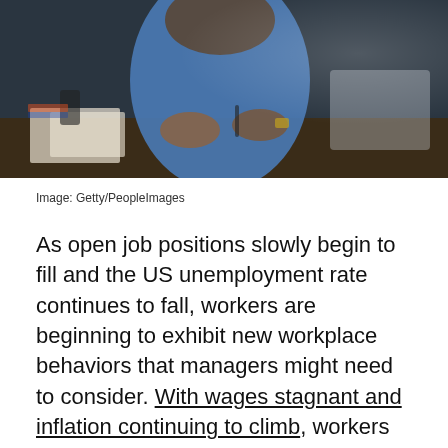[Figure (photo): A person in a blue denim shirt sitting at a desk, working with papers and a pen, with a blurred background showing office/workspace setting. Photo credit: Getty/PeopleImages.]
Image: Getty/PeopleImages
As open job positions slowly begin to fill and the US unemployment rate continues to fall, workers are beginning to exhibit new workplace behaviors that managers might need to consider. With wages stagnant and inflation continuing to climb, workers feeling stuck in their professional growth are beginning to "quiet quit" their jobs.
Quiet quitting isn't quitting your job entirely. It's the act of just doing what you need to at work to get